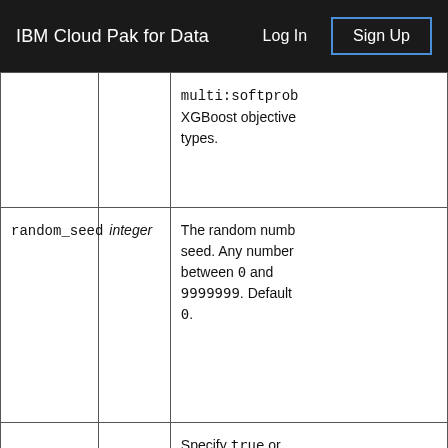IBM Cloud Pak for Data  Log In  Sign Up
| Parameter | Type | Description |
| --- | --- | --- |
|  |  | multi:softprob XGBoost objective types. |
| random_seed | integer | The random number seed. Any number between 0 and 9999999. Default 0. |
|  |  | Specify true or false to enable or disable the HPO . If set to true, Rbfopt will |